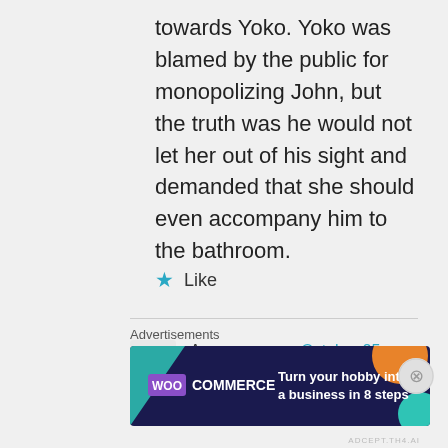towards Yoko. Yoko was blamed by the public for monopolizing John, but the truth was he would not let her out of his sight and demanded that she should even accompany him to the bathroom.
★ Like
Anonymous on October 25, 2013 at 03:14
Advertisements
[Figure (screenshot): WooCommerce advertisement banner: 'Turn your hobby into a business in 8 steps']